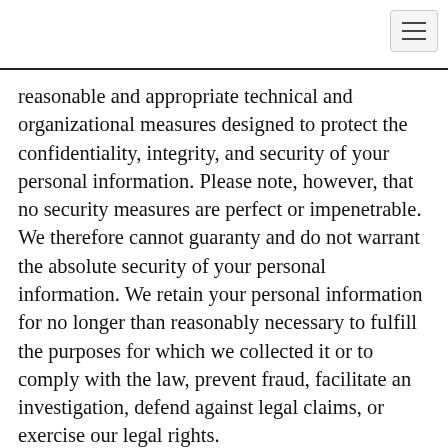reasonable and appropriate technical and organizational measures designed to protect the confidentiality, integrity, and security of your personal information. Please note, however, that no security measures are perfect or impenetrable. We therefore cannot guaranty and do not warrant the absolute security of your personal information. We retain your personal information for no longer than reasonably necessary to fulfill the purposes for which we collected it or to comply with the law, prevent fraud, facilitate an investigation, defend against legal claims, or exercise our legal rights.
Your Choices & Rights
You may decline to share certain information with